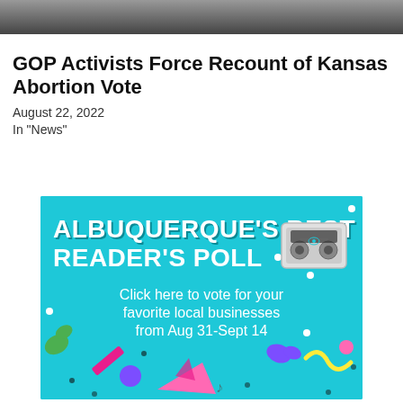[Figure (photo): Partial photo of people at top of page, cropped]
GOP Activists Force Recount of Kansas Abortion Vote
August 22, 2022
In "News"
[Figure (infographic): Albuquerque's Best Reader's Poll advertisement on blue background with 90s style decorations and cassette tape illustration. Text: Click here to vote for your favorite local businesses from Aug 31-Sept 14]